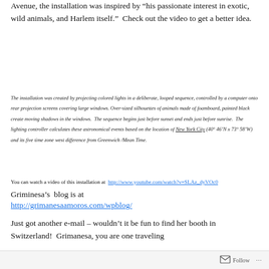Avenue, the installation was inspired by “his passionate interest in exotic, wild animals, and Harlem itself.”  Check out the video to get a better idea.
The installation was created by projecting colored lights in a deliberate, looped sequence, controlled by a computer onto rear projection screens covering large windows. Over-sized silhouettes of animals made of foamboard, painted black create moving shadows in the windows.  The sequence begins just before sunset and ends just before sunrise.  The lighting controller calculates these astronomical events based on the location of New York City (40° 46’N x 73° 58’W) and its five time zone west difference from Greenwich /Mean Time.
You can watch a video of this installation at  http://www.youtube.com/watch?v=SLAz_dyVOc0
Griminesa’s  blog is at
http://grimanesaamoros.com/wpblog/
Just got another e-mail – wouldn’t it be fun to find her booth in Switzerland!  Grimanesa, you are one traveling